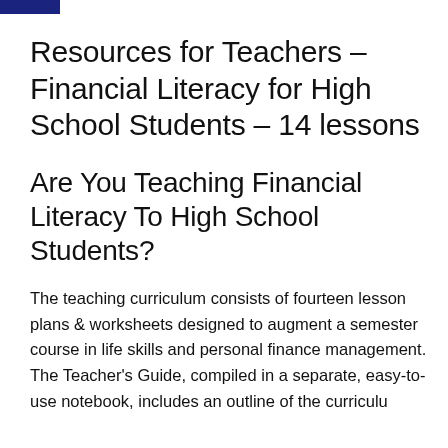Resources for Teachers – Financial Literacy for High School Students – 14 lessons
Are You Teaching Financial Literacy To High School Students?
The teaching curriculum consists of fourteen lesson plans & worksheets designed to augment a semester course in life skills and personal finance management. The Teacher's Guide, compiled in a separate, easy-to-use notebook, includes an outline of the curriculum...